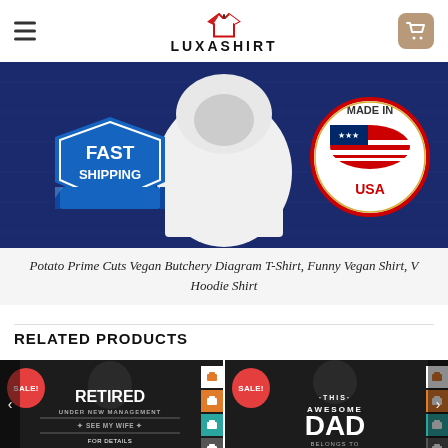LUXASHIRT
[Figure (photo): Product banner showing a white hoodie/t-shirt with 'FAST SHIPPING' badge on left and 'MADE IN USA' badge on right, on a dark blue background]
Potato Prime Cuts Vegan Butchery Diagram T-Shirt, Funny Vegan Shirt, V Hoodie Shirt
RELATED PRODUCTS
[Figure (photo): Black t-shirt with text 'RETIRED UNDER NEW MANAGEMENT SEE MY WIFE FOR DETAILS' with SALE badge]
[Figure (photo): Black t-shirt with text 'THIS AWESOME DAD BELONGS TO' with SALE badge]